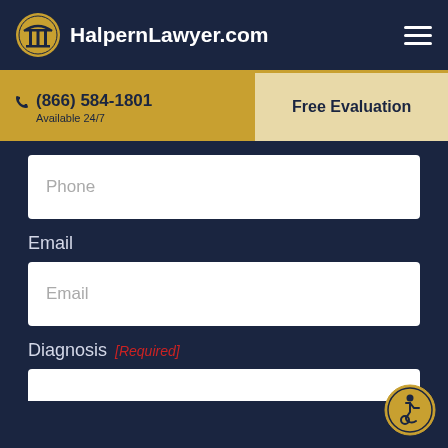HalpernLawyer.com
(866) 584-1801 Available 24/7
Free Evaluation
Phone
Email
Email
Diagnosis [Required]